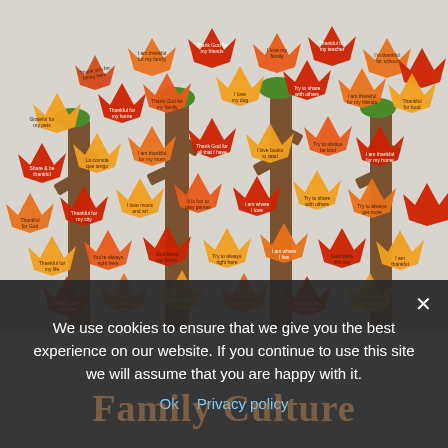[Figure (photo): A classroom bulletin board display showing paper autumn trees decorated with colorful cut-out maple leaves in red, orange, and yellow colors, each leaf containing handwritten text. The leaves are arranged on brown paper trunk branches against a light wall background.]
We use cookies to ensure that we give you the best experience on our website. If you continue to use this site we will assume that you are happy with it.
Ok   Privacy policy